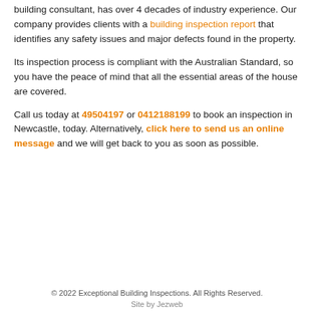building consultant, has over 4 decades of industry experience. Our company provides clients with a building inspection report that identifies any safety issues and major defects found in the property.
Its inspection process is compliant with the Australian Standard, so you have the peace of mind that all the essential areas of the house are covered.
Call us today at 49504197 or 0412188199 to book an inspection in Newcastle, today. Alternatively, click here to send us an online message and we will get back to you as soon as possible.
© 2022 Exceptional Building Inspections. All Rights Reserved.
Site by Jezweb